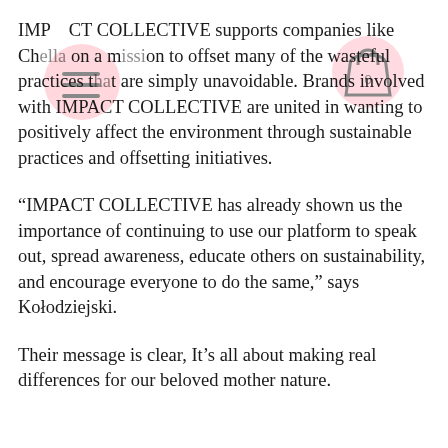IMPACT COLLECTIVE supports companies like Chella on a mission to offset many of the wasteful practices that are simply unavoidable. Brands involved with IMPACT COLLECTIVE are united in wanting to positively affect the environment through sustainable practices and offsetting initiatives.
“IMPACT COLLECTIVE has already shown us the importance of continuing to use our platform to speak out, spread awareness, educate others on sustainability, and encourage everyone to do the same,” says Kołodziejski.
Their message is clear, It’s all about making real differences for our beloved mother nature.